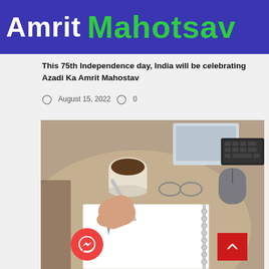[Figure (logo): Azadi Ka Amrit Mahotsav banner with blue background, white text 'Amrit' and green text 'Mahotsav']
This 75th Independence day, India will be celebrating Azadi Ka Amrit Mahostav
August 15, 2022  0
[Figure (photo): A hand holding a pen writing in a spiral notebook on a round table, with a coffee cup, glasses, tablet, mouse, and keyboard visible in the background.]